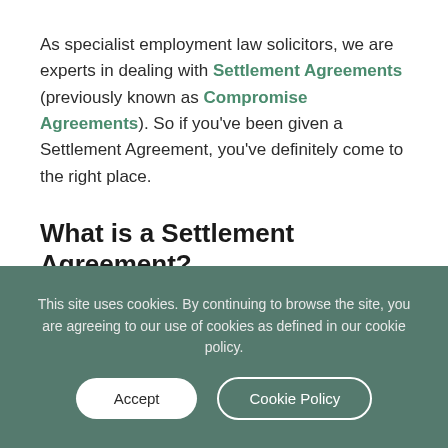As specialist employment law solicitors, we are experts in dealing with Settlement Agreements (previously known as Compromise Agreements). So if you've been given a Settlement Agreement, you've definitely come to the right place.
What is a Settlement Agreement?
Basically it is an agreement between an employer and an employee in which the employee agrees not to bring claims against the employer. There are certain statutory requirements that have to be met for a
This site uses cookies. By continuing to browse the site, you are agreeing to our use of cookies as defined in our cookie policy.